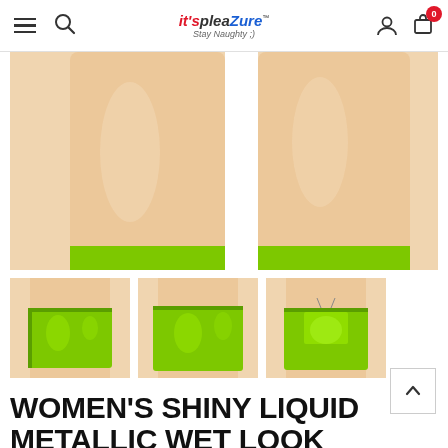it'spleaZure™ Stay Naughty ;)
[Figure (photo): Close-up photo of model's legs wearing a shiny lime green metallic mini skirt, cropped to show thighs against white background]
[Figure (photo): Thumbnail 1: Front view of lime green shiny liquid metallic mini skirt on model]
[Figure (photo): Thumbnail 2: Side/front view of lime green shiny liquid metallic mini skirt on model]
[Figure (photo): Thumbnail 3: Back view of lime green shiny liquid metallic mini skirt on model]
WOMEN'S SHINY LIQUID METALLIC WET LOOK